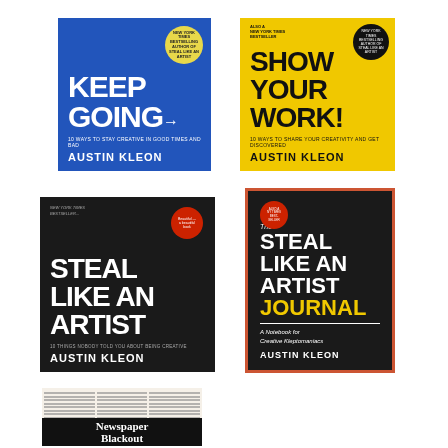[Figure (illustration): Book cover: Keep Going by Austin Kleon. Blue background with large white handwritten-style title text 'KEEP GOING' with an arrow, subtitle '10 ways to stay creative in good times and bad', yellow circular badge, author name AUSTIN KLEON at bottom.]
[Figure (illustration): Book cover: Show Your Work! by Austin Kleon. Yellow background with large black handwritten-style title 'SHOW YOUR WORK!', subtitle '10 ways to share your creativity and get discovered', black circular badge top right, author name AUSTIN KLEON at bottom.]
[Figure (illustration): Book cover: Steal Like an Artist by Austin Kleon. Black background with large white handwritten-style title 'STEAL LIKE AN ARTIST', red circular badge, subtitle '10 things nobody told you about being creative', author name AUSTIN KLEON at bottom.]
[Figure (illustration): Book cover: The Steal Like an Artist Journal by Austin Kleon. Black background with coral/red border, red circular badge top left, title 'The STEAL LIKE AN ARTIST JOURNAL' with Journal in yellow, subtitle 'A Notebook for Creative Kleptomaniacs', author AUSTIN KLEON at bottom.]
[Figure (illustration): Book cover: Newspaper Blackout by Austin Kleon. Newspaper background with columns of text, black redacted block at bottom showing white text 'Newspaper Blackout'.]